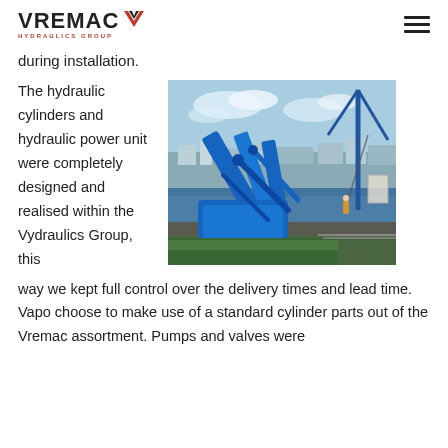VREMAC HYDRAULICS GROUP
during installation.
The hydraulic cylinders and hydraulic power unit were completely designed and realised within the Vydraulics Group, this way we kept full control over the delivery times and lead time. Vapo choose to make use of a standard cylinder parts out of the Vremac assortment. Pumps and valves were
[Figure (photo): Blue hydraulic equipment/machinery on a barge at a dock/port, with a crane visible in the background against a partly cloudy sky.]